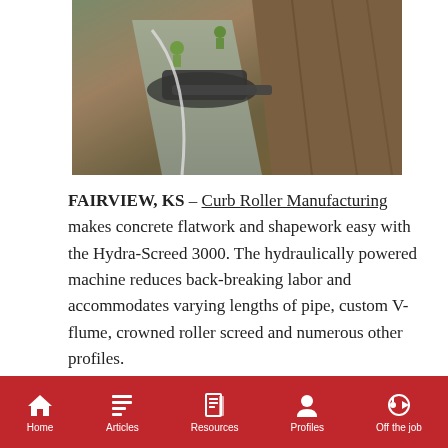[Figure (photo): Aerial view of a concrete curb roller machine in operation on a construction site, with workers in hi-vis vests visible and freshly poured concrete being shaped along a dirt road.]
FAIRVIEW, KS – Curb Roller Manufacturing makes concrete flatwork and shapework easy with the Hydra-Screed 3000. The hydraulically powered machine reduces back-breaking labor and accommodates varying lengths of pipe, custom V-flume, crowned roller screed and numerous other profiles.
The
Home   Articles   Resources   Profiles   Off the job